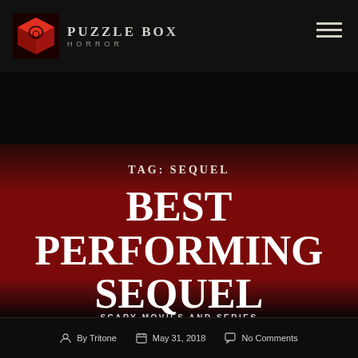Puzzle Box Horror
TAG: SEQUEL
BEST PERFORMING SEQUEL HORROR MOVIES
SCARY MOVIES AND SERIES
By Tritone   May 31, 2018   No Comments